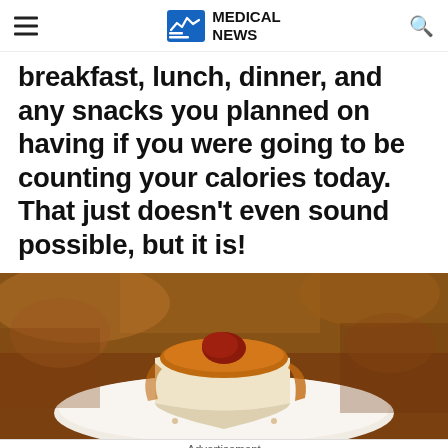MEDICAL NEWS
breakfast, lunch, dinner, and any snacks you planned on having if you were going to be counting your calories today. That just doesn't even sound possible, but it is!
[Figure (photo): Close-up photo of a slice of cheesecake with caramel/fruit topping on a white plate, with food in the background]
Advertisement
[Figure (other): CVS Pharmacy advertisement banner showing: In-store shopping, Drive-through, Delivery options with checkmarks and a blue arrow icon]